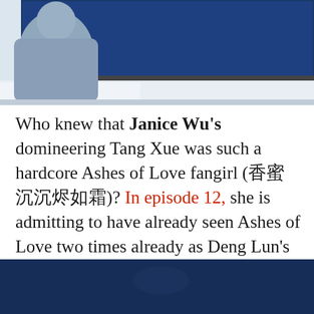[Figure (photo): Photo of a person viewed from behind sitting in front of a large TV screen mounted on a wall, in a room with white cabinets]
Who knew that Janice Wu's domineering Tang Xue was such a hardcore Ashes of Love fangirl (香蜜沉沉烬如霜)? In episode 12, she is admitting to have already seen Ashes of Love two times already as Deng Lun's Xufeng in all his golden feathery glory fills the TV screen. Producer Andy Liu Ning who cameos as the restaurant owner admits to having seen the show five times! Luckily, Tang Xue deems watching Li Yubing's hockey game more important than crying through the most heartbreaking wedding scene once more. *lol*
[Figure (photo): Dark blue toned photo, partial view of a scene, possibly interior of a car or dark room]